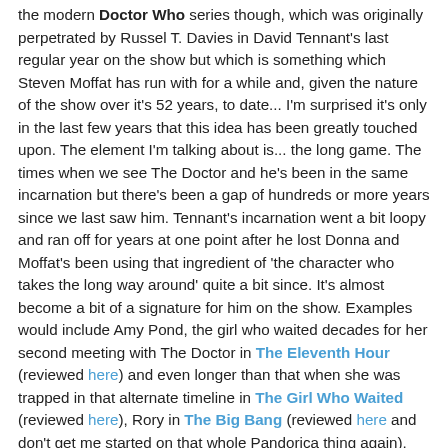the modern Doctor Who series though, which was originally perpetrated by Russel T. Davies in David Tennant's last regular year on the show but which is something which Steven Moffat has run with for a while and, given the nature of the show over it's 52 years, to date... I'm surprised it's only in the last few years that this idea has been greatly touched upon. The element I'm talking about is... the long game. The times when we see The Doctor and he's been in the same incarnation but there's been a gap of hundreds or more years since we last saw him. Tennant's incarnation went a bit loopy and ran off for years at one point after he lost Donna and Moffat's been using that ingredient of 'the character who takes the long way around' quite a bit since. It's almost become a bit of a signature for him on the show. Examples would include Amy Pond, the girl who waited decades for her second meeting with The Doctor in The Eleventh Hour (reviewed here) and even longer than that when she was trapped in that alternate timeline in The Girl Who Waited (reviewed here), Rory in The Big Bang (reviewed here and don't get me started on that whole Pandorica thing again), River Song as a youngster in the opening scenes of Let's Kill Hitler (reviewed here), Matt Smith prior to the events of The Snowman (after losing Amy and Rory, reviewed here),